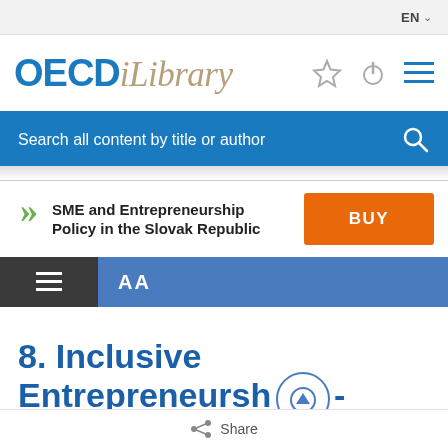EN
[Figure (logo): OECD iLibrary logo in blue and tan/gold italic]
Search all content by title or author
SME and Entrepreneurship Policy in the Slovak Republic
BUY
8. Inclusive Entrepreneurship - Focus on the Roma Community
Share